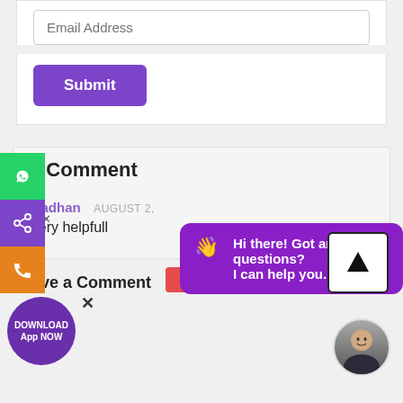[Figure (screenshot): Email address input field (form element)]
[Figure (screenshot): Submit button (purple)]
1 Comment
Madhan   AUGUST 2,
Very helpfull
REPLY
Leave a Comment
[Figure (screenshot): Cancel reply button (red)]
[Figure (infographic): Left sidebar with WhatsApp, share, and phone call buttons]
[Figure (infographic): Purple DOWNLOAD App NOW circle button]
[Figure (infographic): Purple chat popup: Hi there! Got any questions? I can help you...]
[Figure (infographic): Scroll up arrow button (black arrow in box)]
[Figure (photo): User avatar photo (man in suit)]